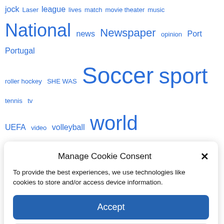jock Laser league lives match movie theater music National news Newspaper opinion Port Portugal roller hockey SHE WAS Soccer sport tennis tv UEFA video volleyball world
Manage Cookie Consent
To provide the best experiences, we use technologies like cookies to store and/or access device information.
Accept
Deny
View preferences
Cookie Policy